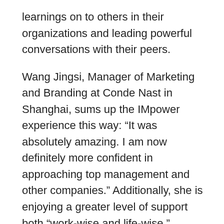learnings on to others in their organizations and leading powerful conversations with their peers.
Wang Jingsi, Manager of Marketing and Branding at Conde Nast in Shanghai, sums up the IMpower experience this way: “It was absolutely amazing. I am now definitely more confident in approaching top management and other companies.” Additionally, she is enjoying a greater level of support both “work-wise and life-wise.”
For Managers: In a region where corporate culture is hierarchical, IMpower has served as